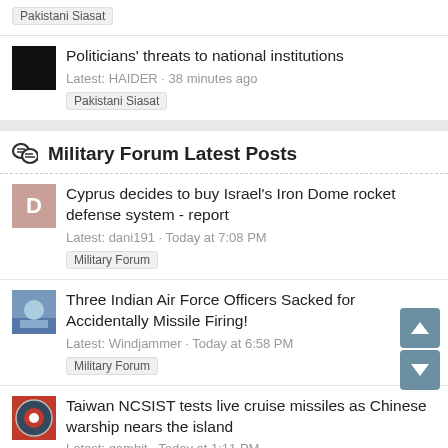Pakistani Siasat (tag)
Politicians' threats to national institutions
Latest: HAIDER · 38 minutes ago
Pakistani Siasat
Military Forum Latest Posts
Cyprus decides to buy Israel's Iron Dome rocket defense system - report
Latest: dani191 · Today at 7:08 PM
Military Forum
Three Indian Air Force Officers Sacked for Accidentally Missile Firing!
Latest: Windjammer · Today at 6:58 PM
Military Forum
Taiwan NCSIST tests live cruise missiles as Chinese warship nears the island
Latest: gambit · Today at 1:11 PM
Military Forum